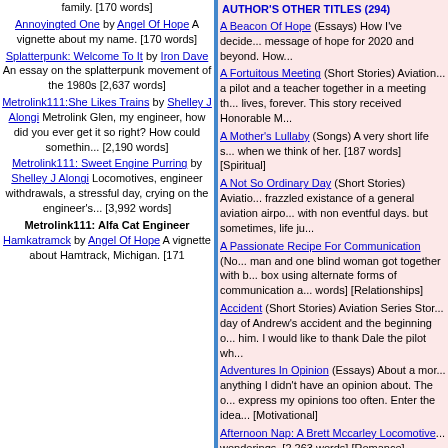family. [170 words]
Annoyingted One by Angel Of Hope A vignette about my name. [170 words]
Splatterpunk: Welcome To It by Iron Dave An essay on the splatterpunk movement of the 1980s [2,637 words]
Metrolink111:She Likes Trains by Shelley J Alongi Metrolink Glen, my engineer, how did you ever get it so right? How could somethin... [2,190 words]
Metrolink111: Sweet Engine Purring by Shelley J Alongi Locomotives, engineer withdrawals, a stressful day, crying on the engineer's... [3,992 words]
Metrolink111: Alfa Cat Engineer Hamkatramck by Angel Of Hope A vignette about Hamtrack, Michigan. [171 words]
AUTHOR'S OTHER TITLES (294)
A Beacon Of Hope (Essays) How I've decided to create a message of hope for 2020 and beyond. How...
A Fortuitous Meeting (Short Stories) Aviation... a pilot and a teacher together in a meeting that changed their lives, forever. This story received Honorable M...
A Mother's Lullaby (Songs) A very short life story when we think of her. [187 words] [Spiritual]
A Not So Ordinary Day (Short Stories) Aviation... frazzled existance of a general aviation airpo... with non eventful days. but sometimes, life ju...
A Passionate Recipe For Communication (No... man and one blind woman got together with... box using alternate forms of communication a... words] [Relationships]
Accident (Short Stories) Aviation Series Stor... day of Andrew's accident and the beginning o... him. I would like to thank Dale the pilot wh...
Adventures In Opinion (Essays) About a mor... anything I didn't have an opinion about. The o... express my opinions too often. Enter the idea... [Motivational]
Afternoon Nap: A Brett Mccarley Locomotive ... wonderings. [2,263 words] [Romance]
All I Wanted (Songs) A song about the possib... America's most notorious terrorists. The lyrics... words]
An Aviation Accident Arouses An Advocate (...)